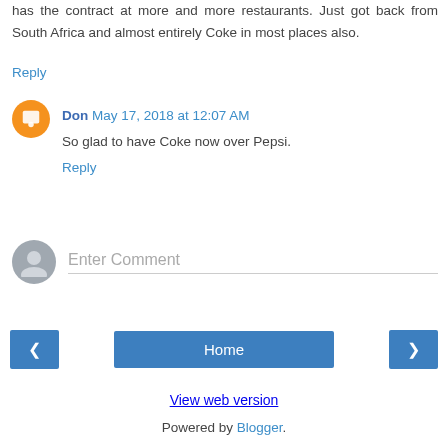has the contract at more and more restaurants. Just got back from South Africa and almost entirely Coke in most places also.
Reply
Don May 17, 2018 at 12:07 AM
So glad to have Coke now over Pepsi.
Reply
Enter Comment
‹
Home
›
View web version
Powered by Blogger.